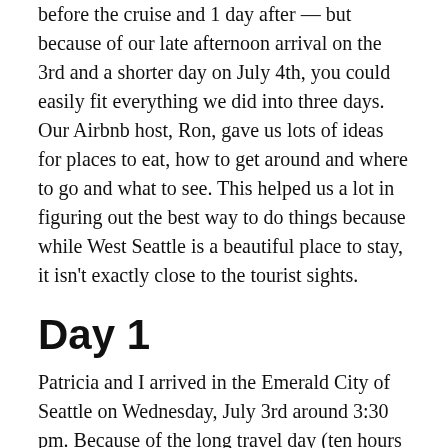before the cruise and 1 day after — but because of our late afternoon arrival on the 3rd and a shorter day on July 4th, you could easily fit everything we did into three days. Our Airbnb host, Ron, gave us lots of ideas for places to eat, how to get around and where to go and what to see. This helped us a lot in figuring out the best way to do things because while West Seattle is a beautiful place to stay, it isn't exactly close to the tourist sights.
Day 1
Patricia and I arrived in the Emerald City of Seattle on Wednesday, July 3rd around 3:30 pm. Because of the long travel day (ten hours of travelling and airport waiting) and the time change from EDT to PDT, we were planning on an early night. But first, we were excited to explore what Alki Beach had to offer.